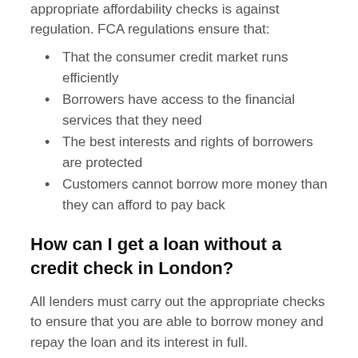appropriate affordability checks is against regulation. FCA regulations ensure that:
That the consumer credit market runs efficiently
Borrowers have access to the financial services that they need
The best interests and rights of borrowers are protected
Customers cannot borrow more money than they can afford to pay back
How can I get a loan without a credit check in London?
All lenders must carry out the appropriate checks to ensure that you are able to borrow money and repay the loan and its interest in full.
This will include performing either a hard or soft credit check to confirm your details and your creditworthiness, as well as safeguarding you from affordability issues in the future. Without these carrying out checks, payday lenders would be going